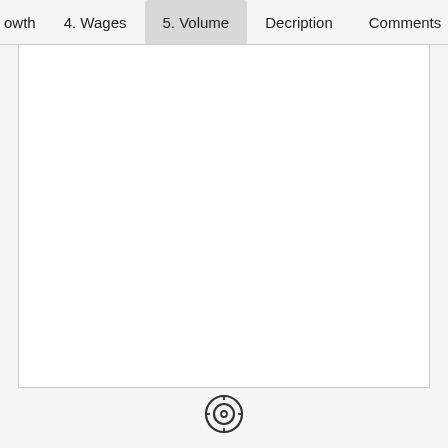owth   4. Wages   5. Volume   Decription   Comments
[Figure (screenshot): Empty spreadsheet tab content area, white background with border]
[Figure (logo): Circular logo/emblem at bottom center of page]